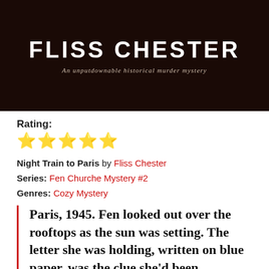[Figure (illustration): Book cover image with dark brown background showing author name FLISS CHESTER in large white bold text and subtitle 'An unputdownable historical murder mystery' in italic below]
Rating:
★★★★★ (5 stars)
Night Train to Paris by Fliss Chester
Series: Fen Churche Mystery #2
Genres: Cozy Mystery
Paris, 1945. Fen looked out over the rooftops as the sun was setting. The letter she was holding, written on blue paper, was the clue she'd been searching for. She wiped away a tear and pulled herself